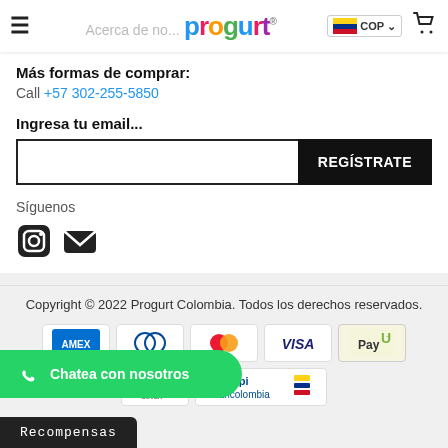Progurt — COP — Cart
Más formas de comprar:
Call +57 302-255-5850
Ingresa tu email...
REGÍSTRATE
Síguenos
[Figure (screenshot): Instagram and email social icons]
Copyright © 2022 Progurt Colombia. Todos los derechos reservados.
[Figure (logo): Payment method logos: AMEX, Diners, Mastercard, VISA, PayU, Discover, Wompi Bancolombia]
Chatea con nosotros
Recompensas